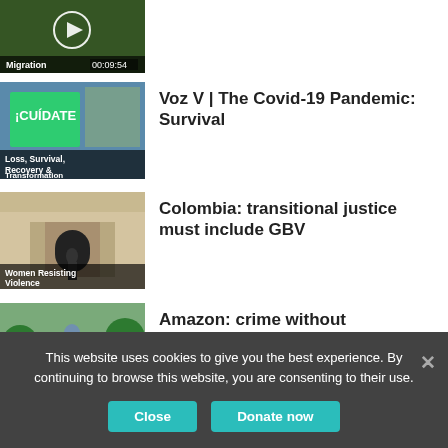[Figure (screenshot): Partially visible video thumbnail for Migration topic, showing 00:09:54 duration overlay]
[Figure (screenshot): Video thumbnail with CUIDATE mural graffiti image, labeled Loss, Survival, Recovery & Transformation]
Voz V | The Covid-19 Pandemic: Survival
[Figure (screenshot): Video thumbnail showing a large building entrance, labeled Women Resisting Violence]
Colombia: transitional justice must include GBV
[Figure (screenshot): Video thumbnail showing illustrated environmental scene, labeled Environmental]
Amazon: crime without punishment
This website uses cookies to give you the best experience. By continuing to browse this website, you are consenting to their use.